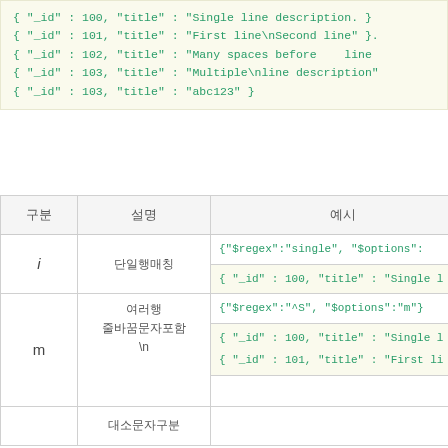{ "_id" : 100, "title" : "Single line description. }
{ "_id" : 101, "title" : "First line\nSecond line" }.
{ "_id" : 102, "title" : "Many spaces before    line
{ "_id" : 103, "title" : "Multiple\nline description"
{ "_id" : 103, "title" : "abc123" }
| 구분 | 설명 | 예시 |
| --- | --- | --- |
| i | 단일행매칭 | {
"$regex":"single", "$options":
{ "_id" : 100, "title" : "Single l |
| m | 여러행
줄바꿈문자포함
\n | {
"$regex":"^S", "$options":"m"}

{ "_id" : 100, "title" : "Single l
{ "_id" : 101, "title" : "First li |
|  | 대소문자구분 |  |